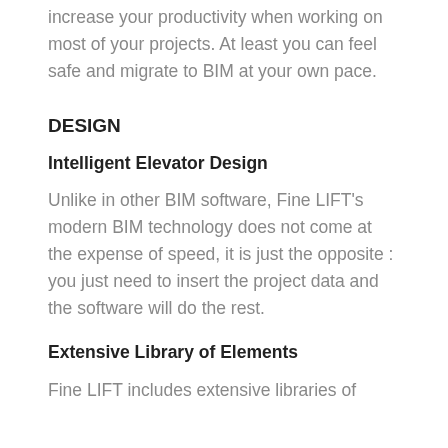increase your productivity when working on most of your projects. At least you can feel safe and migrate to BIM at your own pace.
DESIGN
Intelligent Elevator Design
Unlike in other BIM software, Fine LIFT's modern BIM technology does not come at the expense of speed, it is just the opposite : you just need to insert the project data and the software will do the rest.
Extensive Library of Elements
Fine LIFT includes extensive libraries of